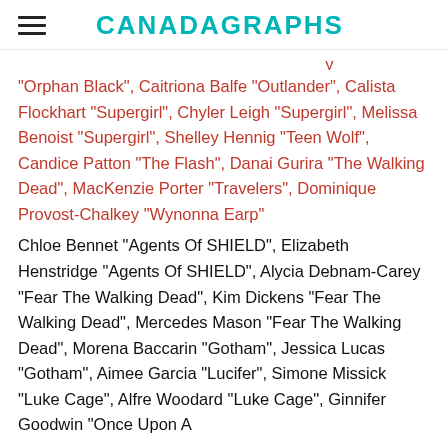CANADAGRAPHS
"Orphan Black", Caitriona Balfe "Outlander", Calista Flockhart "Supergirl", Chyler Leigh "Supergirl", Melissa Benoist "Supergirl", Shelley Hennig "Teen Wolf", Candice Patton "The Flash", Danai Gurira "The Walking Dead", MacKenzie Porter "Travelers", Dominique Provost-Chalkey "Wynonna Earp"
Chloe Bennet "Agents Of SHIELD", Elizabeth Henstridge "Agents Of SHIELD", Alycia Debnam-Carey "Fear The Walking Dead", Kim Dickens "Fear The Walking Dead", Mercedes Mason "Fear The Walking Dead", Morena Baccarin "Gotham", Jessica Lucas "Gotham", Aimee Garcia "Lucifer", Simone Missick "Luke Cage", Alfre Woodard "Luke Cage", Ginnifer Goodwin "Once Upon A